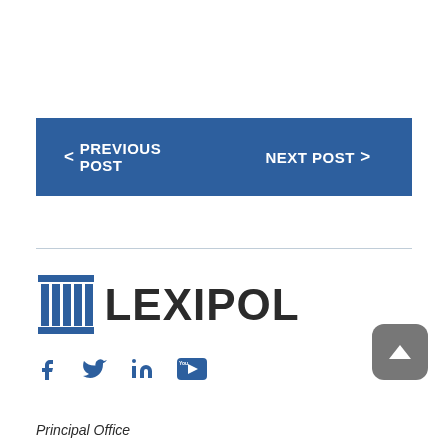< PREVIOUS POST
NEXT POST >
[Figure (logo): Lexipol logo with blue column icon and bold LEXIPOL text]
[Figure (infographic): Social media icons: Facebook, Twitter, LinkedIn, YouTube]
Principal Office